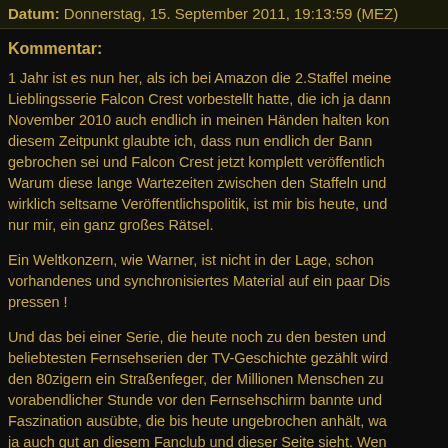Datum: Donnerstag, 15. September 2011, 19:13:59 (MEZ)
Kommentar:
1 Jahr ist es nun her, als ich bei Amazon die 2.Staffel meiner Lieblingsserie Falcon Crest vorbestellt hatte, die ich ja dann November 2010 auch endlich in meinen Händen halten kon. diesem Zeitpunkt glaubte ich, dass nun endlich der Bann gebrochen sei und Falcon Crest jetzt komplett veröffentlich. Warum diese lange Wartezeiten zwischen den Staffeln und wirklich seltsame Veröffentlichspolitik, ist mir bis heute, und nur mir, ein ganz großes Rätsel.
Ein Weltkonzern, wie Warner, ist nicht in der Lage, schon vorhandenes und synchronisiertes Material auf ein paar Dis pressen !
Und das bei einer Serie, die heute noch zu den besten und beliebtesten Fernsehserien der TV-Geschichte gezählt wird den 80zigern ein Straßenfeger, der Millionen Menschen zu vorabendlicher Stunde vor den Fernsehschirm bannte und Faszination ausübte, die bis heute ungebrochen anhält, wa ja auch gut an diesem Fanclub und dieser Seite sieht. Wen bedenkt, wieviel Hintergrundinformationen diese Seite die g Jahre für die Fans bereit gestellt hat, muß man Falcon Cres